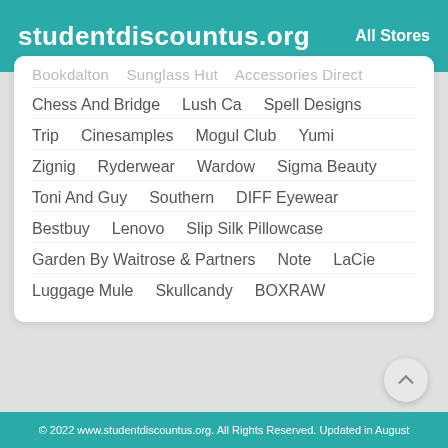studentdiscountus.org   All Stores
Bookdalton   Sunglass Hut   Accessories Direct
Chess And Bridge   Lush Ca   Spell Designs
Trip   Cinesamples   Mogul Club   Yumi
Zignig   Ryderwear   Wardow   Sigma Beauty
Toni And Guy   Southern   DIFF Eyewear
Bestbuy   Lenovo   Slip Silk Pillowcase
Garden By Waitrose & Partners   Note   LaCie
Luggage Mule   Skullcandy   BOXRAW
© 2022 www.studentdiscountus.org. All Rights Reserved. Updated in August